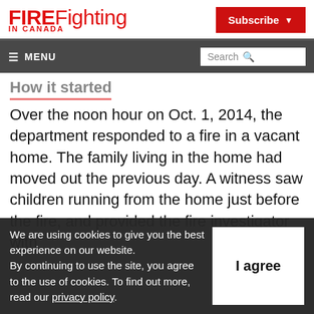FIREFighting IN CANADA | Subscribe
≡ MENU | Search
How it started
Over the noon hour on Oct. 1, 2014, the department responded to a fire in a vacant home. The family living in the home had moved out the previous day. A witness saw children running from the home just before the fire, and provided the fire investigator with
We are using cookies to give you the best experience on our website.
By continuing to use the site, you agree to the use of cookies. To find out more, read our privacy policy.